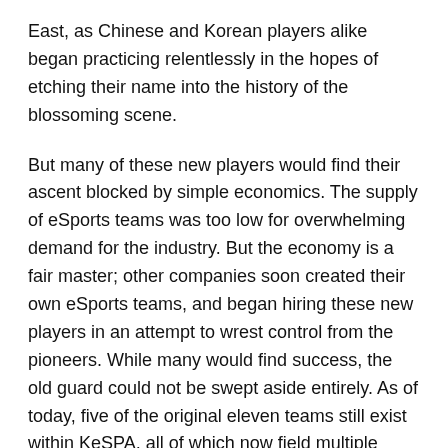East, as Chinese and Korean players alike began practicing relentlessly in the hopes of etching their name into the history of the blossoming scene.
But many of these new players would find their ascent blocked by simple economics. The supply of eSports teams was too low for overwhelming demand for the industry. But the economy is a fair master; other companies soon created their own eSports teams, and began hiring these new players in an attempt to wrest control from the pioneers. While many would find success, the old guard could not be swept aside entirely. As of today, five of the original eleven teams still exist within KeSPA, all of which now field multiple teams to compete in the ever expanding KeSPA catalogue (Saile).
With an astonishing 45% of venture corporations succeeding in this new field, the success of eSports